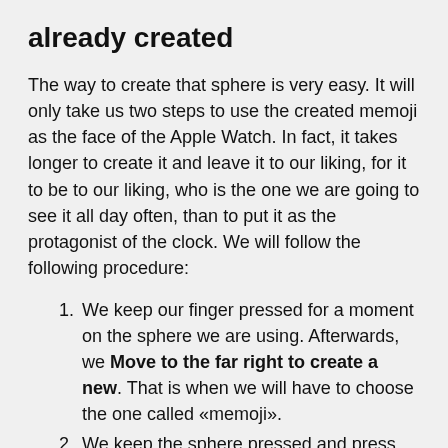already created
The way to create that sphere is very easy. It will only take us two steps to use the created memoji as the face of the Apple Watch. In fact, it takes longer to create it and leave it to our liking, for it to be to our liking, who is the one we are going to see it all day often, than to put it as the protagonist of the clock. We will follow the following procedure:
We keep our finger pressed for a moment on the sphere we are using. Afterwards, we Move to the far right to create a new. That is when we will have to choose the one called «memoji».
We keep the sphere pressed and press